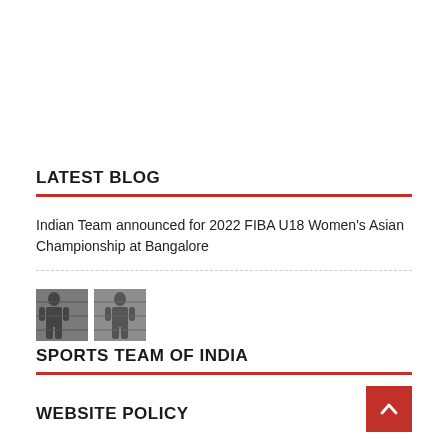LATEST BLOG
Indian Team announced for 2022 FIBA U18 Women's Asian Championship at Bangalore
[Figure (photo): Two small thumbnail images of basketball players in grayscale]
SPORTS TEAM OF INDIA
WEBSITE POLICY